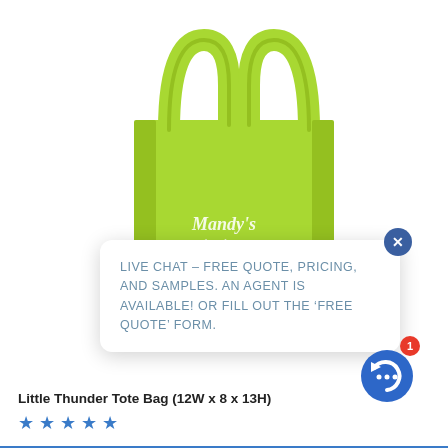[Figure (photo): Lime green non-woven tote bag with white 'Mandy's books &' branding text, shown with two handles upright. A live chat popup box overlays the lower right portion of the bag, and a blue circular chat icon with a red notification badge '1' appears in the bottom right. The popup reads: LIVE CHAT - FREE QUOTE, PRICING, AND SAMPLES. AN AGENT IS AVAILABLE! OR FILL OUT THE 'FREE QUOTE' FORM.]
Little Thunder Tote Bag (12W x 8 x 13H)
[Figure (other): Five blue star rating icons]